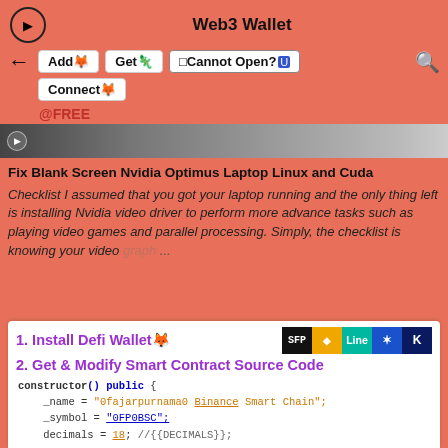Web3 Wallet
Add 🦊  Get 🦡  🟦Cannot Open?🅤  Connect 🦊  @FREE
[Figure (screenshot): Video thumbnail strip showing blurred grayscale background]
Fix Blank Screen Nvidia Optimus Laptop Linux and Cuda
Checklist I assumed that you got your laptop running and the only thing left is installing Nvidia video driver to perform more advance tasks such as playing video games and parallel processing. Simply, the checklist is knowing your video graph... ...
[Figure (screenshot): Bottom card showing: 1. Install Defi Wallet with emoji and logos, 2. Get & Modify Smart Contract Source Code, with Solidity constructor code snippet]